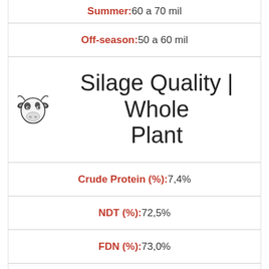Summer:60 a 70 mil
Off-season:50 a 60 mil
Silage Quality | Whole Plant
Crude Protein (%):7,4%
NDT (%):72,5%
FDN (%):73,0%